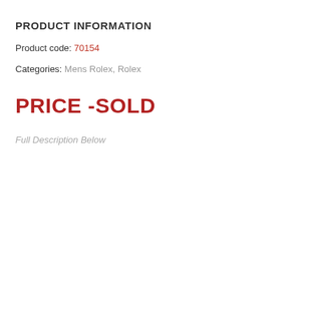PRODUCT INFORMATION
Product code: 70154
Categories: Mens Rolex, Rolex
PRICE -SOLD
Full Description Below